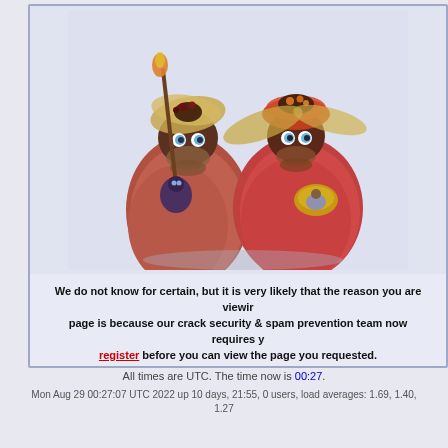[Figure (illustration): Two fuzzy creature figurines made from natural materials — they appear troll-like with blue eyes, wild hair/fur made of reddish fibers, wearing leaf/petal hats, one holding a small creature and the other holding a golden leaf with a tiny figure. Background is light pinkish-white.]
We do not know for certain, but it is very likely that the reason you are viewing this page is because our crack security & spam prevention team now requires you to register before you can view the page you requested.
Or they are just in a bad mood.
All times are UTC. The time now is 00:27.
Mon Aug 29 00:27:07 UTC 2022 up 10 days, 21:55, 0 users, load averages: 1.69, 1.40, 1.27